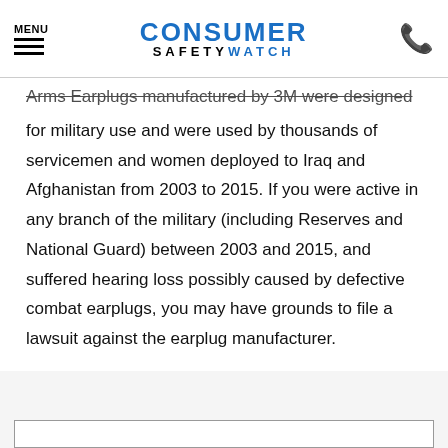MENU | CONSUMER SAFETY WATCH
Arms Earplugs manufactured by 3M were designed for military use and were used by thousands of servicemen and women deployed to Iraq and Afghanistan from 2003 to 2015. If you were active in any branch of the military (including Reserves and National Guard) between 2003 and 2015, and suffered hearing loss possibly caused by defective combat earplugs, you may have grounds to file a lawsuit against the earplug manufacturer.